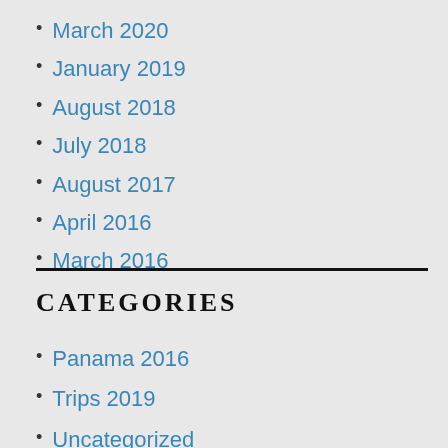March 2020
January 2019
August 2018
July 2018
August 2017
April 2016
March 2016
CATEGORIES
Panama 2016
Trips 2019
Uncategorized